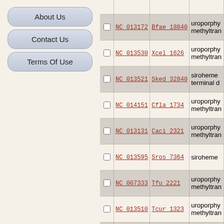About Us
Contact Us
Terms Of Use
|  | Accession | Gene | Description |
| --- | --- | --- | --- |
| ☐ | NC_013172 | Bfae_18840 | uroporphy... methyltran... |
| ☐ | NC_013530 | Xcel_1626 | uroporphy... methyltran... |
| ☐ | NC_013521 | Sked_32840 | siroheme ... terminal d... |
| ☐ | NC_014151 | Cfla_1734 | uroporphy... methyltran... |
| ☐ | NC_013131 | Caci_2321 | uroporphy... methyltran... |
| ☐ | NC_013595 | Sros_7364 | siroheme ... |
| ☐ | NC_007333 | Tfu_2221 | uroporphy... methyltran... |
| ☐ | NC_013510 | Tcur_1323 | uroporphy... methyltran... |